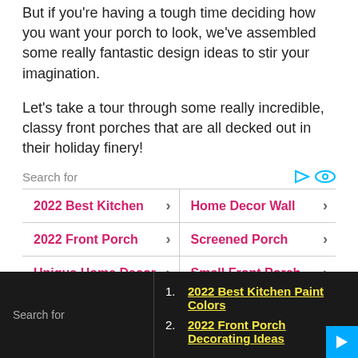But if you're having a tough time deciding how you want your porch to look, we've assembled some really fantastic design ideas to stir your imagination.
Let's take a tour through some really incredible, classy front porches that are all decked out in their holiday finery!
Search for
2022 Best Kitchen
Home Decor Wall
2022 Front Porch
Screened Porch
Unique Home Decor
Small Front Porch
Simple Front Porch
Beautiful Front
Screen Porch
Top 10 Home Decor
Search for
1. 2022 Best Kitchen Paint Colors
2. 2022 Front Porch Decorating Ideas